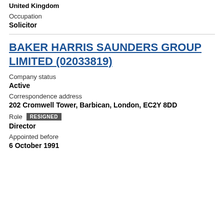United Kingdom
Occupation
Solicitor
BAKER HARRIS SAUNDERS GROUP LIMITED (02033819)
Company status
Active
Correspondence address
202 Cromwell Tower, Barbican, London, EC2Y 8DD
Role RESIGNED
Director
Appointed before
6 October 1991